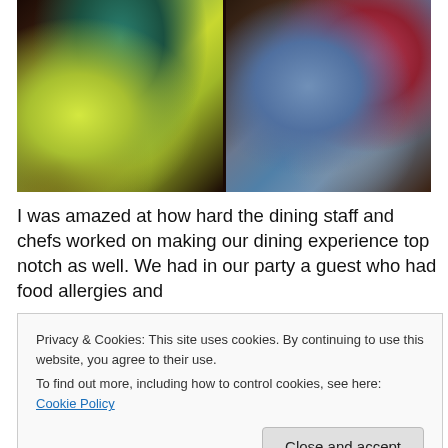[Figure (photo): Two side-by-side photos: left shows a person in a yellow-green and teal princess costume; right shows a man in a blue Superman t-shirt and plaid shorts posing with a character in a red and gold costume with white feathers.]
I was amazed at how hard the dining staff and chefs worked on making our dining experience top notch as well. We had in our party a guest who had food allergies and
Privacy & Cookies: This site uses cookies. By continuing to use this website, you agree to their use.
To find out more, including how to control cookies, see here: Cookie Policy
Close and accept